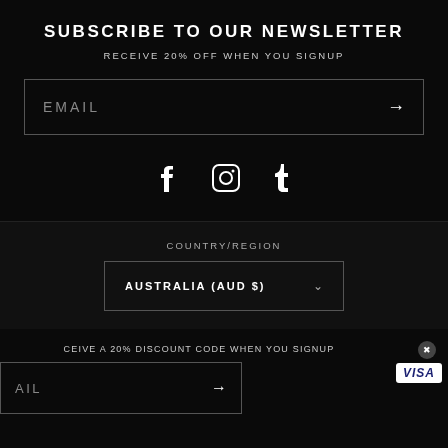SUBSCRIBE TO OUR NEWSLETTER
RECEIVE 20% OFF WHEN YOU SIGNUP
EMAIL
[Figure (illustration): Social media icons: Facebook (f), Instagram (camera), Tumblr (t)]
COUNTRY/REGION
AUSTRALIA (AUD $)
CEIVE A 20% DISCOUNT CODE WHEN YOU SIGNUP
AIL